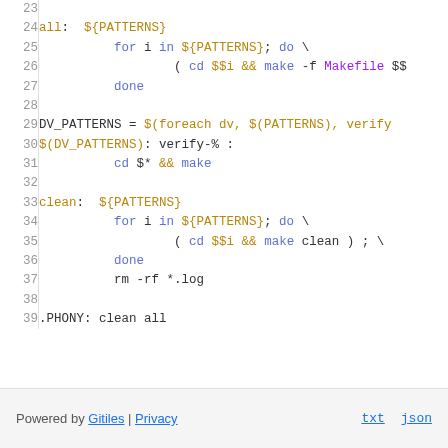[Figure (screenshot): Syntax-highlighted Makefile code snippet showing lines 23-39. Lines include 'all' target with ${PATTERNS}, a for loop, DV_PATTERNS definition, verify pattern rule, clean target with for loop and rm command, and .PHONY declaration.]
Powered by Gitiles | Privacy   txt   json